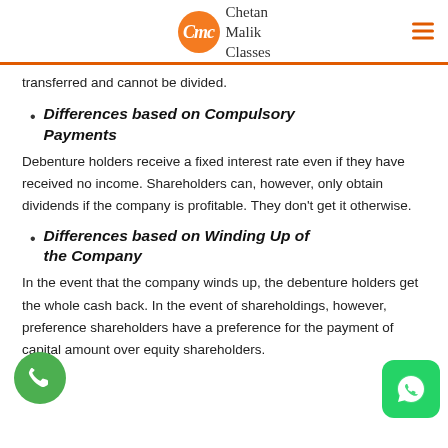Chetan Malik Classes
transferred and cannot be divided.
Differences based on Compulsory Payments
Debenture holders receive a fixed interest rate even if they have received no income. Shareholders can, however, only obtain dividends if the company is profitable. They don't get it otherwise.
Differences based on Winding Up of the Company
In the event that the company winds up, the debenture holders get the whole cash back. In the event of shareholdings, however, preference shareholders have a preference for the payment of capital amount over equity shareholders.